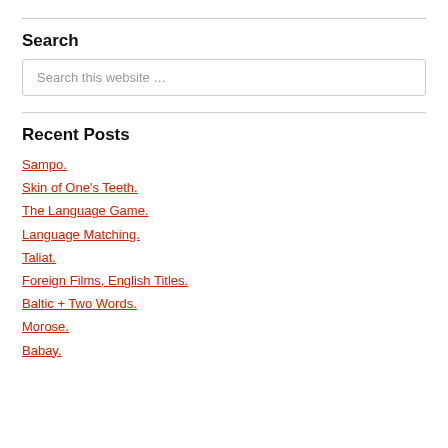Search
Search this website …
Recent Posts
Sampo.
Skin of One's Teeth.
The Language Game.
Language Matching.
Taliat.
Foreign Films, English Titles.
Baltic + Two Words.
Morose.
Babay.